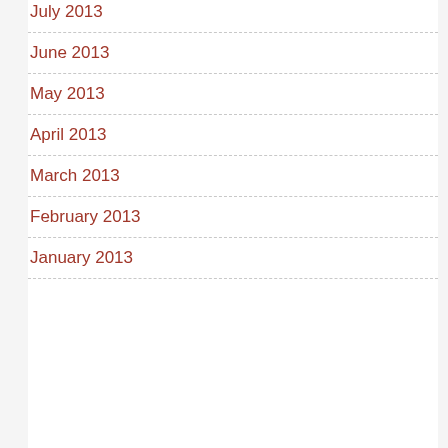July 2013
June 2013
May 2013
April 2013
March 2013
February 2013
January 2013